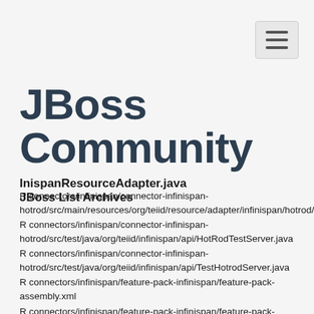JBoss Community
JBoss List Archives
R connectors/infinispan/connector-infinispan-hotrod/src/main/resources/org/teiid/resource/adapter/infinispan/hotrod/i18n.properties
R connectors/infinispan/connector-infinispan-hotrod/src/test/java/org/teiid/infinispan/api/HotRodTestServer.java
R connectors/infinispan/connector-infinispan-hotrod/src/test/java/org/teiid/infinispan/api/TestHotrodServer.java
R connectors/infinispan/feature-pack-infinispan/feature-pack-assembly.xml
R connectors/infinispan/feature-pack-infinispan/feature-pack-build.xml
R connectors/infinispan/feature-pack-infinispan/pom.xml
R